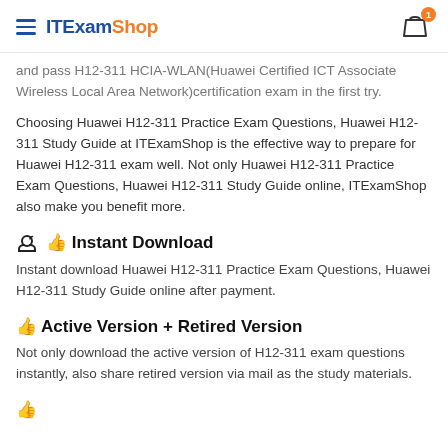ITExamShop
and pass H12-311 HCIA-WLAN(Huawei Certified ICT Associate Wireless Local Area Network)certification exam in the first try.
Choosing Huawei H12-311 Practice Exam Questions, Huawei H12-311 Study Guide at ITExamShop is the effective way to prepare for Huawei H12-311 exam well. Not only Huawei H12-311 Practice Exam Questions, Huawei H12-311 Study Guide online, ITExamShop also make you benefit more.
Instant Download
Instant download Huawei H12-311 Practice Exam Questions, Huawei H12-311 Study Guide online after payment.
Active Version + Retired Version
Not only download the active version of H12-311 exam questions instantly, also share retired version via mail as the study materials.